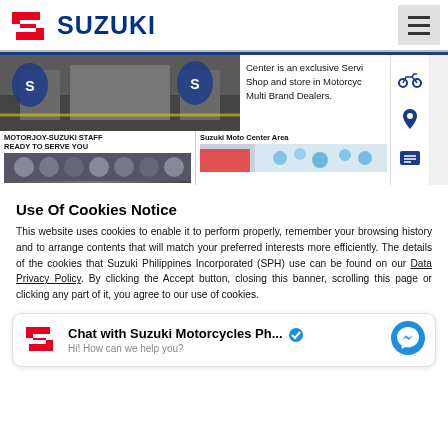SUZUKI
[Figure (screenshot): Suzuki dealership store front photo showing large S-logo balloon decorations and store interior]
Center is an exclusive Service Shop and store in Motorcycle Multi Brand Dealers.
MOTORJOY-SUZUKI STAFF READY TO SERVE YOU
Suzuki Moto Center Area
[Figure (photo): Staff photo at Motorjoy-Suzuki dealer]
[Figure (photo): Suzuki Moto Center Area interior with balloons]
Use Of Cookies Notice
This website uses cookies to enable it to perform properly, remember your browsing history and to arrange contents that will match your preferred interests more efficiently. The details of the cookies that Suzuki Philippines Incorporated (SPH) use can be found on our Data Privacy Policy. By clicking the Accept button, closing this banner, scrolling this page or clicking any part of it, you agree to our use of cookies.
Chat with Suzuki Motorcycles Ph... Hi! How can we help you?